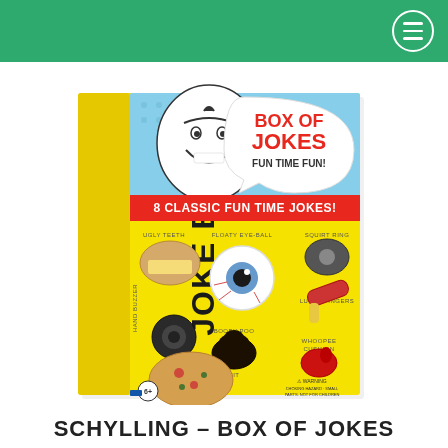[Figure (photo): Product photo of Schylling Joke Box - a toy box set showing 8 classic fun time jokes including ugly teeth, floaty eye-ball, squirt ring, hand buzzer, booby poo, lucky fingers, whoopee cushion, and fake vomit on a yellow box with a smiling cartoon boy face.]
SCHYLLING – BOX OF JOKES